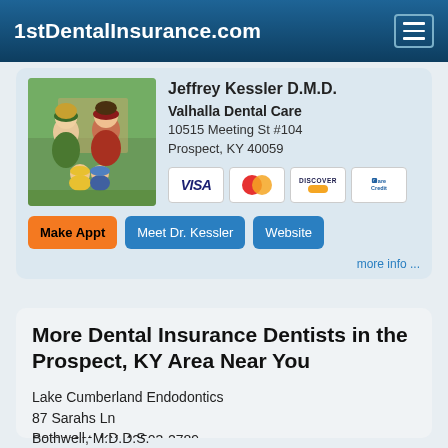1stDentalInsurance.com
Jeffrey Kessler D.M.D.
Valhalla Dental Care
10515 Meeting St #104
Prospect, KY 40059
[Figure (photo): Family photo showing a woman, man, and two young children outdoors]
[Figure (logo): Payment method logos: VISA, MasterCard, Discover, CareCredit]
Make Appt   Meet Dr. Kessler   Website
more info ...
More Dental Insurance Dentists in the Prospect, KY Area Near You
Lake Cumberland Endodontics
87 Sarahs Ln
Somerset, KY, 42503-2789
Bothwell, M.D.D.S.